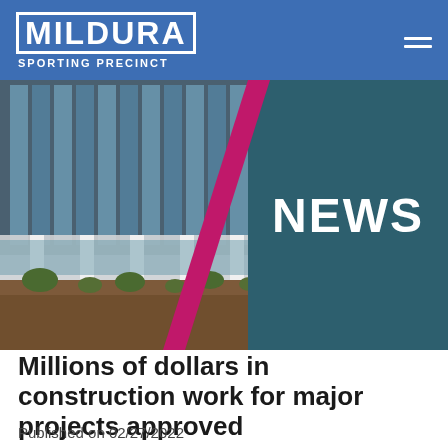MILDURA SPORTING PRECINCT
[Figure (photo): Hero banner image showing a modern glass and steel building with white columns, landscaped with mulch and small shrubs. The right half features a teal/dark blue-green panel with the word NEWS in large white bold text. A diagonal magenta/pink stripe divides the photo and panel.]
Millions of dollars in construction work for major projects approved
Published on 02/27/2022